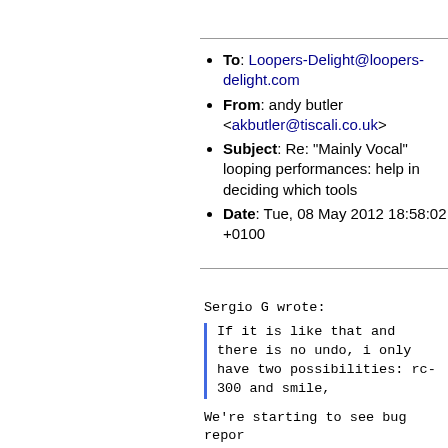To: Loopers-Delight@loopers-delight.com
From: andy butler <akbutler@tiscali.co.uk>
Subject: Re: "Mainly Vocal" looping performances: help in deciding which tools
Date: Tue, 08 May 2012 18:58:02 +0100
Sergio G wrote:
If it is like that and there is no undo, i only have two possibilities: rc-300 and smile,
We're starting to see bug repor... How it just freezes up and beco...